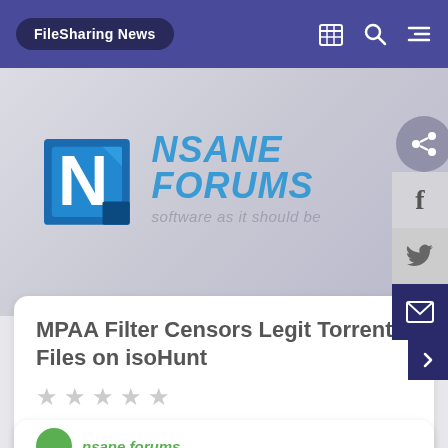FileSharing News
[Figure (logo): Nsane Forums logo with 'N' icon and tagline 'software as it should be']
MPAA Filter Censors Legit Torrent Files on isoHunt
By nsane.forums,
April 6, 2012 in FileSharing News